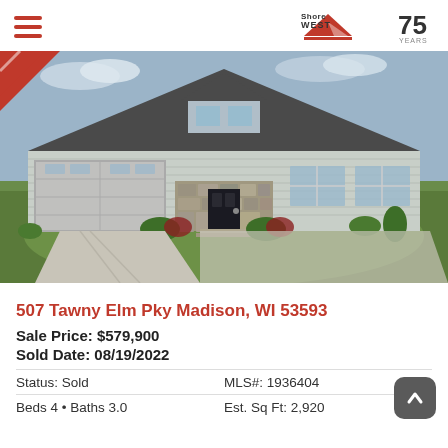ShoreWEST 75 YEARS
[Figure (photo): Exterior photo of a single-story residential home with gray siding, two-car garage, stone facade entry, green lawn, and landscaping.]
507 Tawny Elm Pky Madison, WI 53593
Sale Price: $579,900
Sold Date: 08/19/2022
Status: Sold
MLS#: 1936404
Beds 4 • Baths 3.0
Est. Sq Ft: 2,920